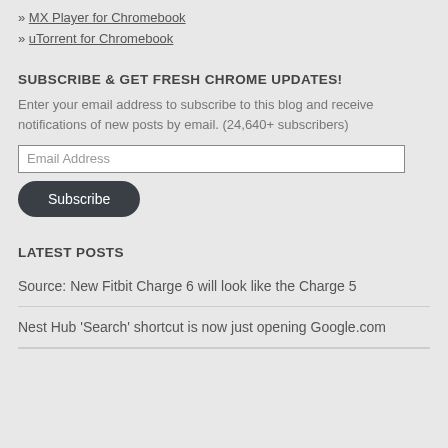» MX Player for Chromebook
» uTorrent for Chromebook
SUBSCRIBE & GET FRESH CHROME UPDATES!
Enter your email address to subscribe to this blog and receive notifications of new posts by email. (24,640+ subscribers)
Email Address
Subscribe
LATEST POSTS
Source: New Fitbit Charge 6 will look like the Charge 5
Nest Hub ‘Search’ shortcut is now just opening Google.com